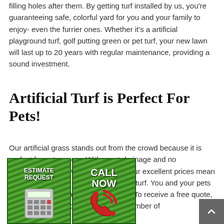filling holes after them. By getting turf installed by us, you're guaranteeing safe, colorful yard for you and your family to enjoy- even the furrier ones. Whether it's a artificial playground turf, golf putting green or pet turf, your new lawn will last up to 20 years with regular maintenance, providing a sound investment.
Artificial Turf is Perfect For Pets!
Our artificial grass stands out from the crowd because it is perfect for pet owners. With great drainage and no absorption, no pet waste will ruin it. Our excellent prices mean that any pet owner can afford artificial turf. You and your pets can play on the grass, all year round. To receive a free quote, fill out the form or please provide a number of
[Figure (infographic): Two green grass-textured buttons side by side: 'ESTIMATE REQUEST' with a calculator graphic, and 'CALL NOW' with a red telephone graphic]